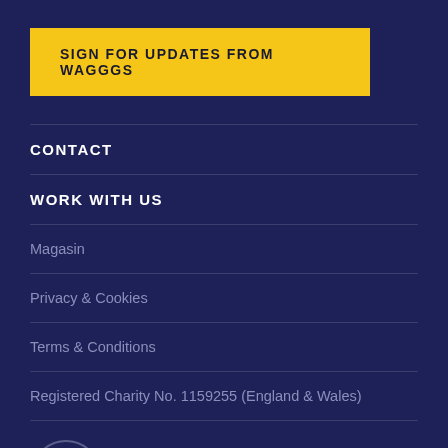SIGN FOR UPDATES FROM WAGGGS
CONTACT
WORK WITH US
Magasin
Privacy & Cookies
Terms & Conditions
Registered Charity No. 1159255 (England & Wales)
[Figure (logo): WAGGGS trefoil logo circle with WORLD ASSOCIATION OF GIRL GUIDES text]